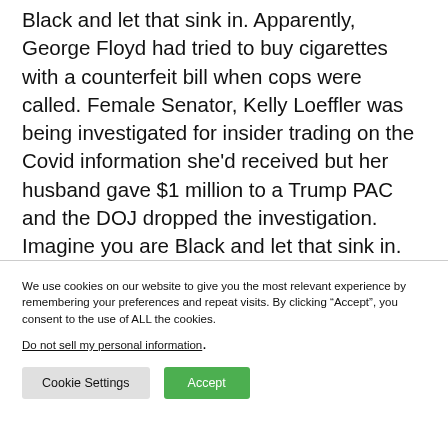Black and let that sink in. Apparently, George Floyd had tried to buy cigarettes with a counterfeit bill when cops were called. Female Senator, Kelly Loeffler was being investigated for insider trading on the Covid information she'd received but her husband gave $1 million to a Trump PAC and the DOJ dropped the investigation. Imagine you are Black and let that sink in.
We use cookies on our website to give you the most relevant experience by remembering your preferences and repeat visits. By clicking “Accept”, you consent to the use of ALL the cookies.
Do not sell my personal information.